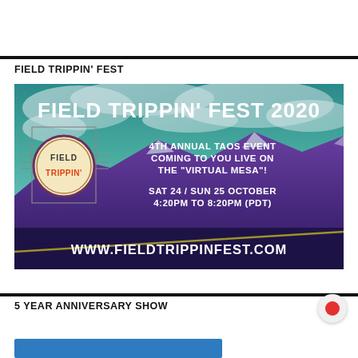FIELD TRIPPIN' FEST
[Figure (illustration): Field Trippin' Fest 2020 promotional banner. Dark teal/cloudy sky background with purple mountain landscape. Text reads: FIELD TRIPPIN' FEST 2020, 4TH ANNUAL TAOS EVENT COMING TO YOU LIVE ON THE 'VIRTUAL MESA'!, SAT 24 / SUN 25 OCTOBER 4:20PM TO 8:20PM (PDT), WWW.FIELDTRIPPINFEST.COM. Circular logo with 'Field Trippin'' text on left side.]
5 YEAR ANNIVERSARY SHOW